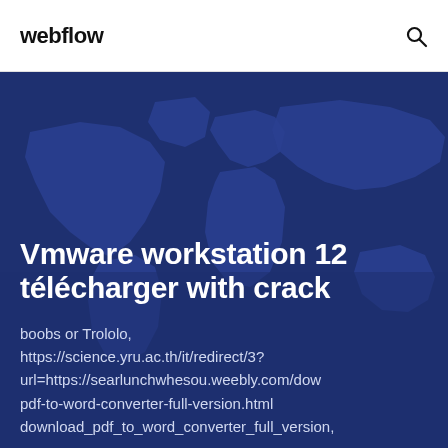webflow
[Figure (illustration): Dark blue world map background illustration covering the hero section]
Vmware workstation 12 télécharger with crack
boobs or Trololo, https://science.yru.ac.th/it/redirect/3?url=https://searlunchwhesou.weebly.com/dow pdf-to-word-converter-full-version.html download_pdf_to_word_converter_full_version,